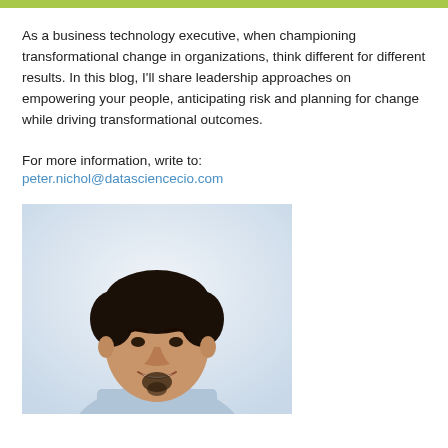As a business technology executive, when championing transformational change in organizations, think different for different results. In this blog, I'll share leadership approaches on empowering your people, anticipating risk and planning for change while driving transformational outcomes.
For more information, write to:
peter.nichol@datasciencecio.com
[Figure (photo): Professional headshot of a man with dark curly hair, wearing a light blue suit jacket, smiling at camera against a light background.]